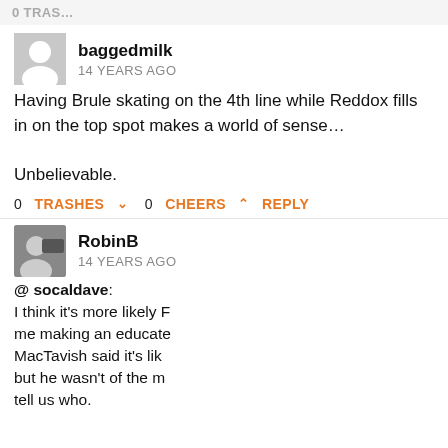0 TRASHES
baggedmilk
14 YEARS AGO
Having Brule skating on the 4th line while Reddox fills in on the top spot makes a world of sense…

Unbelievable.
0 TRASHES  0 CHEERS  REPLY
RobinB
14 YEARS AGO
[Figure (screenshot): Video popup overlay showing '2022 NHL Draft 1-on-1 – Jordan Gustafs…' with a mute button, two people (Jordan Gustafson and Chris Wahl) in video frames, WHL Draft logo, names at bottom]
@ socaldave:
I think it's more likely F… me making an educate… MacTavish said it's lik… but he wasn't of the m… tell us who.